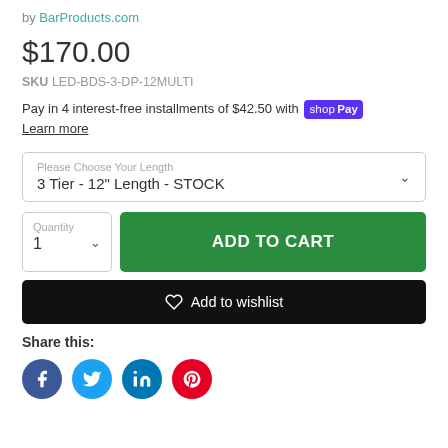by BarProducts.com
$170.00
SKU LED-BDS-3-DP-12MULTI
Pay in 4 interest-free installments of $42.50 with shop Pay
Learn more
Please Choose Your Length
3 Tier - 12" Length - STOCK
Quantity
1
ADD TO CART
Add to wishlist
Share this: